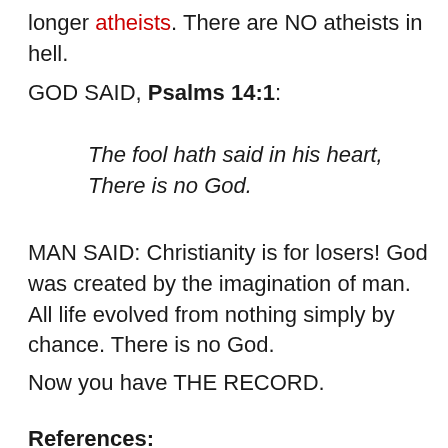longer atheists. There are NO atheists in hell.
GOD SAID, Psalms 14:1:
The fool hath said in his heart, There is no God.
MAN SAID: Christianity is for losers! God was created by the imagination of man. All life evolved from nothing simply by chance. There is no God.
Now you have THE RECORD.
References: